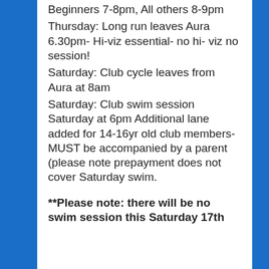Beginners 7-8pm, All others 8-9pm
Thursday: Long run leaves Aura 6.30pm- Hi-viz essential- no hi- viz no session!
Saturday: Club cycle leaves from Aura at 8am
Saturday: Club swim session Saturday at 6pm Additional lane added for 14-16yr old club members- MUST be accompanied by a parent (please note prepayment does not cover Saturday swim.
**Please note: there will be no swim session this Saturday 17th